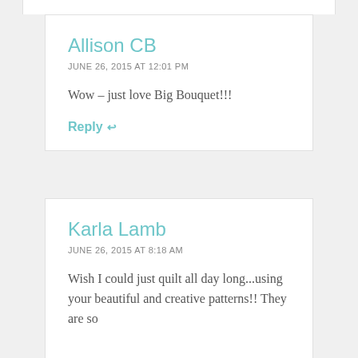Allison CB
JUNE 26, 2015 AT 12:01 PM
Wow – just love Big Bouquet!!!
Reply ↩
Karla Lamb
JUNE 26, 2015 AT 8:18 AM
Wish I could just quilt all day long...using your beautiful and creative patterns!! They are so